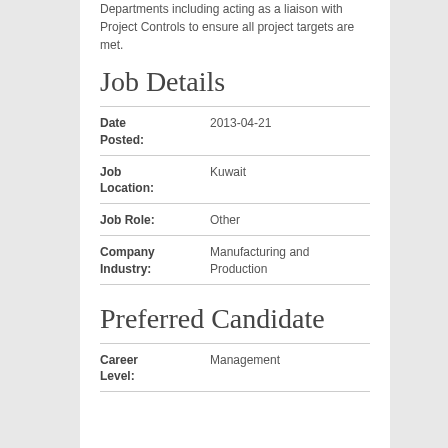Departments including acting as a liaison with Project Controls to ensure all project targets are met.
Job Details
| Field | Value |
| --- | --- |
| Date Posted: | 2013-04-21 |
| Job Location: | Kuwait |
| Job Role: | Other |
| Company Industry: | Manufacturing and Production |
Preferred Candidate
| Field | Value |
| --- | --- |
| Career Level: | Management |